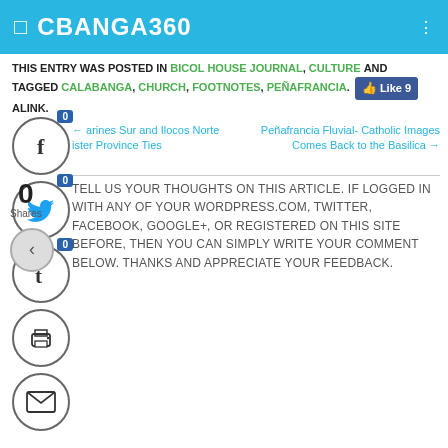CBANGA360
THIS ENTRY WAS POSTED IN BICOL HOUSE JOURNAL, CULTURE AND TAGGED CALABANGA, CHURCH, FOOTNOTES, PEÑAFRANCIA. BOOKMARK THE PERMALINK.
[Figure (screenshot): Social share buttons: Facebook (0), Twitter (0), Tumblr (0), Print, Mail]
← Marines Sur and Ilocos Norte Sister Province Ties
Peñafrancia Fluvial- Catholic Images Comes Back to the Basilica →
0 Shares
TELL US YOUR THOUGHTS ON THIS ARTICLE. IF LOGGED IN WITH ANY OF YOUR WORDPRESS.COM, TWITTER, FACEBOOK, GOOGLE+, OR REGISTERED ON THIS SITE BEFORE, THEN YOU CAN SIMPLY WRITE YOUR COMMENT BELOW. THANKS AND APPRECIATE YOUR FEEDBACK.